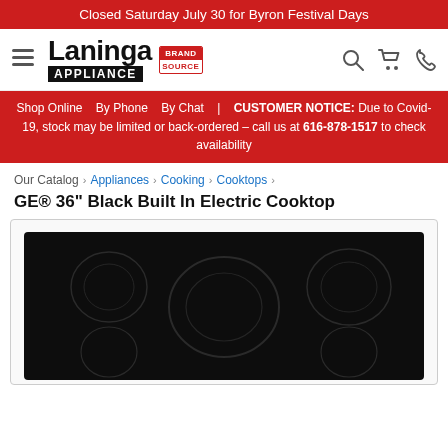Closed Saturday July 30 for Byron Festival Days
[Figure (logo): Laninga Appliance Brand Source logo with hamburger menu, search, cart, and phone icons]
Shop Online   By Phone   By Chat   |   CUSTOMER NOTICE: Due to Covid-19, stock may be limited or back-ordered – call us at 616-878-1517 to check availability
Our Catalog  ›  Appliances  ›  Cooking  ›  Cooktops  ›
GE® 36" Black Built In Electric Cooktop
[Figure (photo): GE 36 inch black built-in electric cooktop with 5 burner circles visible on a black glass surface]